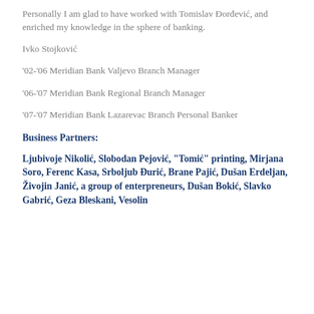Personally I am glad to have worked with Tomislav Đorđević, and enriched my knowledge in the sphere of banking.
Ivko Stojković
'02-'06 Meridian Bank Valjevo Branch Manager
'06-'07 Meridian Bank Regional Branch Manager
'07-'07 Meridian Bank Lazarevac Branch Personal Banker
Business Partners:
Ljubivoje Nikolić, Slobodan Pejović, "Tomić" printing, Mirjana Soro, Ferenc Kasa, Srboljub Đurić, Brane Pajić, Dušan Erdeljan, Živojin Janić, a group of enterpreneurs, Dušan Bokić, Slavko Gabrić, Geza Bleskani, Vesolin